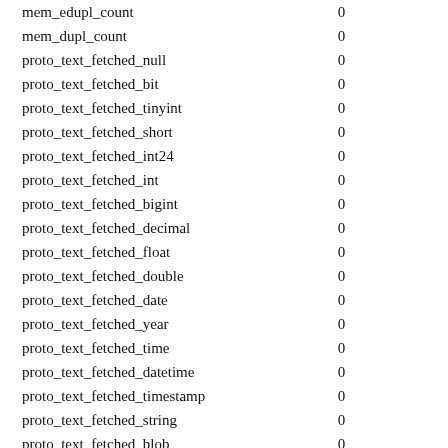| mem_edupl_count | 0 |
| mem_dupl_count | 0 |
| proto_text_fetched_null | 0 |
| proto_text_fetched_bit | 0 |
| proto_text_fetched_tinyint | 0 |
| proto_text_fetched_short | 0 |
| proto_text_fetched_int24 | 0 |
| proto_text_fetched_int | 0 |
| proto_text_fetched_bigint | 0 |
| proto_text_fetched_decimal | 0 |
| proto_text_fetched_float | 0 |
| proto_text_fetched_double | 0 |
| proto_text_fetched_date | 0 |
| proto_text_fetched_year | 0 |
| proto_text_fetched_time | 0 |
| proto_text_fetched_datetime | 0 |
| proto_text_fetched_timestamp | 0 |
| proto_text_fetched_string | 0 |
| proto_text_fetched_blob | 0 |
| proto_text_fetched_enum | 0 |
| proto_text_fetched_set | 0 |